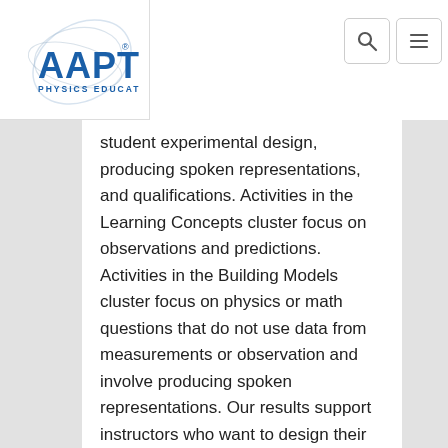AAPT Physics Education
student experimental design, producing spoken representations, and qualifications. Activities in the Learning Concepts cluster focus on observations and predictions. Activities in the Building Models cluster focus on physics or math questions that do not use data from measurements or observation and involve producing spoken representations. Our results support instructors who want to design their own lab activities by demonstrating methods that align with various